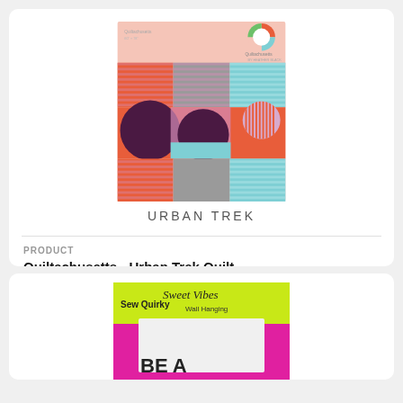[Figure (photo): Quiltachusetts Urban Trek quilt pattern cover image with geometric quilt design in red, gray, pink, blue, and dark purple colors. Logo circle at top right. Text 'URBAN TREK' below the image.]
PRODUCT
Quiltachusetts - Urban Trek Quilt
$11.99
[Figure (photo): Sew Quirky 'Sweet Vibes' Wall Hanging pattern cover. Bright lime green and pink background with text 'Sew Quirky', 'Sweet Vibes', 'Wall Hanging'. Shows quilt pattern letters 'BE A' partially visible.]